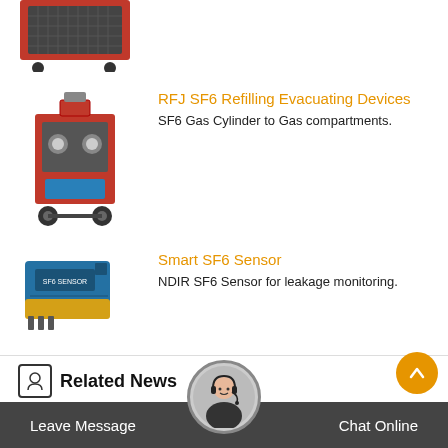[Figure (photo): Top portion of a red-framed industrial SF6 machine on wheels, partially cropped]
RFJ SF6 Refilling Evacuating Devices
SF6 Gas Cylinder to Gas compartments.
[Figure (photo): RFJ SF6 Refilling Evacuating Device - red industrial machine on wheels with blue motor]
Smart SF6 Sensor
NDIR SF6 Sensor for leakage monitoring.
[Figure (photo): Smart SF6 Sensor - blue and yellow electronic sensor device]
Related News
odm sulfur hexafluoride Maintenance in North Macedonia
Rapidox sf6 mixture coupling ago
Highly sensitive Reclamation in Suriname
Leave Message   Chat Online